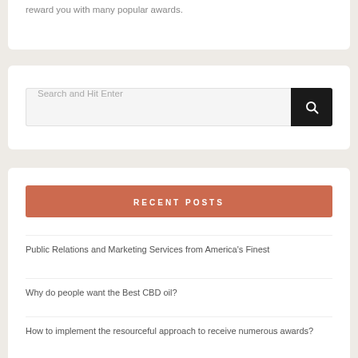reward you with many popular awards.
Search and Hit Enter
RECENT POSTS
Public Relations and Marketing Services from America's Finest
Why do people want the Best CBD oil?
How to implement the resourceful approach to receive numerous awards?